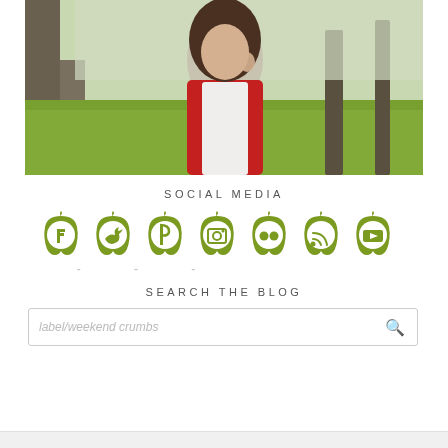[Figure (photo): Woman with long brown hair wearing a red cardigan and white top, leaning against a tree in a park/outdoor setting with green grass and trees in the background.]
SOCIAL MEDIA
[Figure (infographic): Row of 7 green apple-shaped social media icons: Facebook, Twitter, Pinterest, Instagram, Flickr, RSS, YouTube]
- - -
SEARCH THE BLOG
label/weekend crumbs